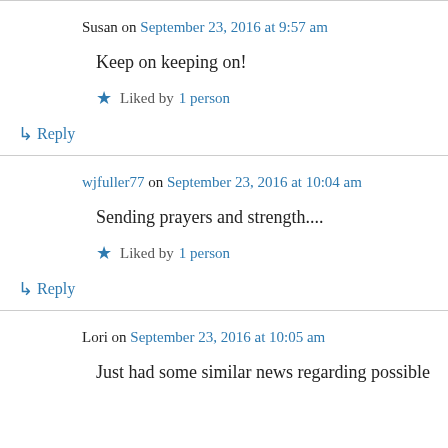Susan on September 23, 2016 at 9:57 am
Keep on keeping on!
Liked by 1 person
↳ Reply
wjfuller77 on September 23, 2016 at 10:04 am
Sending prayers and strength....
Liked by 1 person
↳ Reply
Lori on September 23, 2016 at 10:05 am
Just had some similar news regarding possible